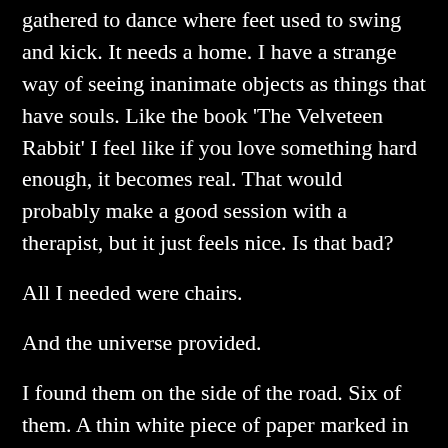gathered to dance where feet used to swing and kick. It needs a home. I have a strange way of seeing inanimate objects as things that have souls. Like the book 'The Velveteen Rabbit' I feel like if you love something hard enough, it becomes real. That would probably make a good session with a therapist, but it just feels nice. Is that bad?
All I needed were chairs.
And the universe provided.
I found them on the side of the road. Six of them. A thin white piece of paper marked in red letters FREE was unceremoniously taped to one of them. The sign was as tired looking as